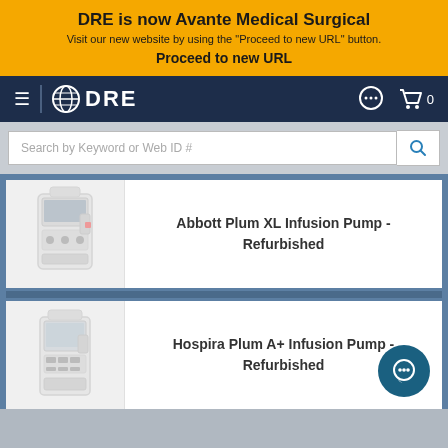DRE is now Avante Medical Surgical
Visit our new website by using the "Proceed to new URL" button.
Proceed to new URL
DRE — Navigation bar with hamburger menu, DRE logo, chat icon, cart icon (0)
Search by Keyword or Web ID #
Abbott Plum XL Infusion Pump - Refurbished
Hospira Plum A+ Infusion Pump - Refurbished